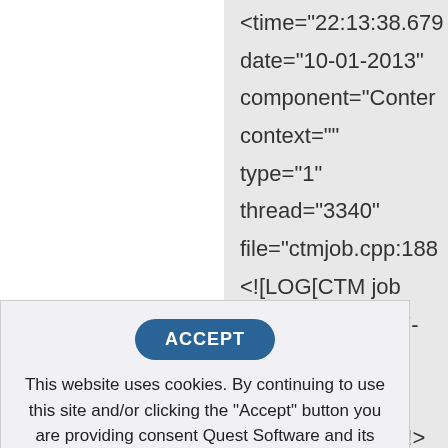[Figure (screenshot): Screenshot of XML/log file content shown in a gray-background code area on the right half of the page. Lines include: <time="22:13:38.679, date="10-01-2013", component="Conter, context="", type="1", thread="3340", file="ctmjob.cpp:188, <![LOG[CTM job {B425DB07-F157-4E0A-9E78-AAE29091A565} suspended]LOG]!>, <time="22:13:38.741, date="10-01-2013", component="Conter]
ACCEPT
This website uses cookies. By continuing to use this site and/or clicking the "Accept" button you are providing consent Quest Software and its affiliates do NOT sell the Personal Data you provide to us either when you register on our websites or